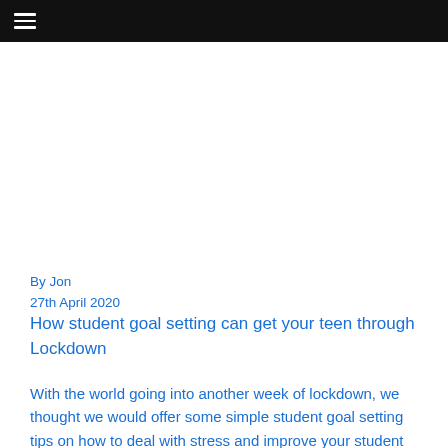≡
By Jon
27th April 2020
How student goal setting can get your teen through Lockdown
With the world going into another week of lockdown, we thought we would offer some simple student goal setting tips on how to deal with stress and improve your student well being. Some worrying recent studies